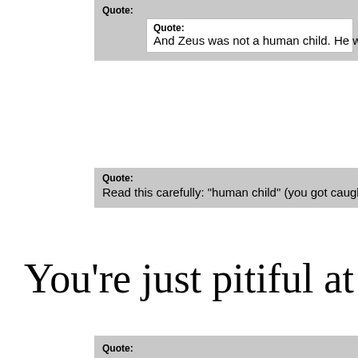Quote: And Zeus was not a human child. He was...
Quote: And Zeus was not a human child. He was...
Quote: Read this carefully: "human child" (you got caught with...
You're just pitiful at this point. Ze
Quote: